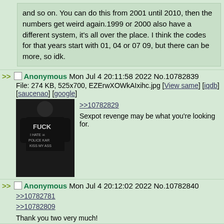and so on. You can do this from 2001 until 2010, then the numbers get weird again.1999 or 2000 also have a different system, it's all over the place. I think the codes for that years start with 01, 04 or 07 09, but there can be more, so idk.
>> Anonymous Mon Jul 4 20:11:58 2022 No.10782839
File: 274 KB, 525x700, EZErwXOWkAIxihc.jpg [View same] [iqdb] [saucenao] [google]
[Figure (photo): Person wearing a black t-shirt with text FUCK I HATE POLICE KAR KISS MY ASS and skull graphic]
>>10782829
Sexpot revenge may be what you're looking for.
>> Anonymous Mon Jul 4 20:12:02 2022 No.10782840
>>10782781
>>10782809
Thank you two very much!
>> Anonymous Mon Jul 4 20:20:45 2022 No.10782845